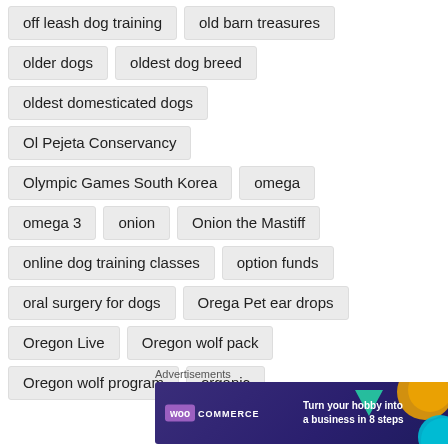off leash dog training
old barn treasures
older dogs
oldest dog breed
oldest domesticated dogs
Ol Pejeta Conservancy
Olympic Games South Korea
omega
omega 3
onion
Onion the Mastiff
online dog training classes
option funds
oral surgery for dogs
Orega Pet ear drops
Oregon Live
Oregon wolf pack
Oregon wolf program
organic
Advertisements
[Figure (screenshot): WooCommerce advertisement banner: 'Turn your hobby into a business in 8 steps']